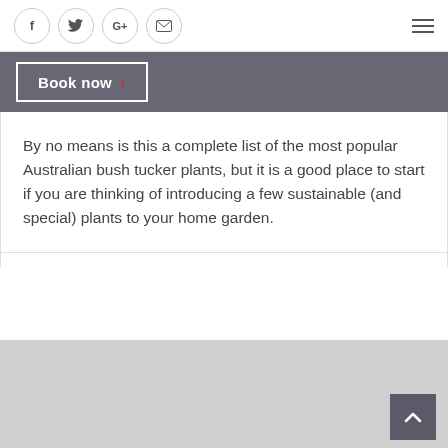Social icons: Facebook, Twitter, Google+, Email; Hamburger menu
Book now
By no means is this a complete list of the most popular Australian bush tucker plants, but it is a good place to start if you are thinking of introducing a few sustainable (and special) plants to your home garden.
[Figure (map): Light gray map area at bottom of page with scroll-to-top button in lower right corner]